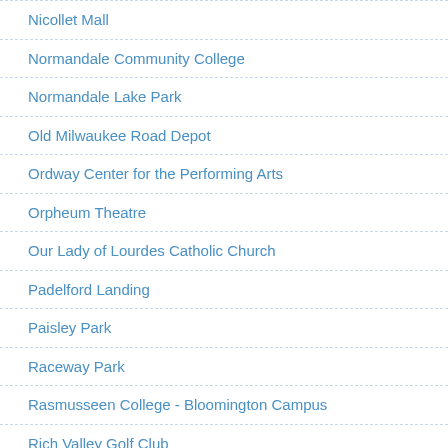Nicollet Mall
Normandale Community College
Normandale Lake Park
Old Milwaukee Road Depot
Ordway Center for the Performing Arts
Orpheum Theatre
Our Lady of Lourdes Catholic Church
Padelford Landing
Paisley Park
Raceway Park
Rasmusseen College - Bloomington Campus
Rich Valley Golf Club
Ridgedale Center